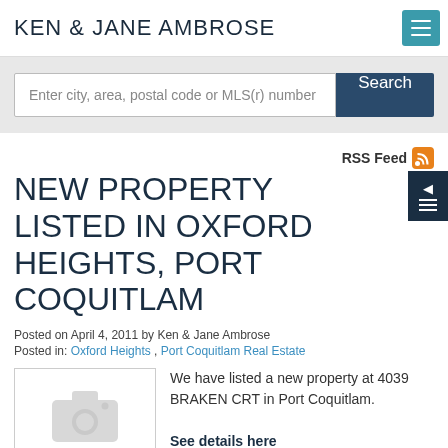KEN & JANE AMBROSE
Enter city, area, postal code or MLS(r) number
Search
RSS Feed
NEW PROPERTY LISTED IN OXFORD HEIGHTS, PORT COQUITLAM
Posted on April 4, 2011 by Ken & Jane Ambrose
Posted in: Oxford Heights , Port Coquitlam Real Estate
[Figure (photo): Placeholder camera icon image]
We have listed a new property at 4039 BRAKEN CRT in Port Coquitlam.

See details here